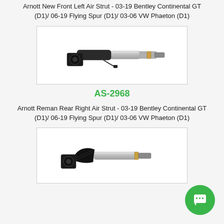Arnott New Front Left Air Strut - 03-19 Bentley Continental GT (D1)/ 06-19 Flying Spur (D1)/ 03-06 VW Phaeton (D1)
[Figure (photo): Photo of an Arnott air strut automotive part, black and silver, diagonal orientation on white background]
AS-2968
Arnott Reman Rear Right Air Strut - 03-19 Bentley Continental GT (D1)/ 06-19 Flying Spur (D1)/ 03-06 VW Phaeton (D1)
[Figure (photo): Photo of an Arnott rear air strut automotive part, black and silver with rubber boot, diagonal orientation on white background]
[Figure (other): Green circular chat button with speech bubble icon in bottom right corner]